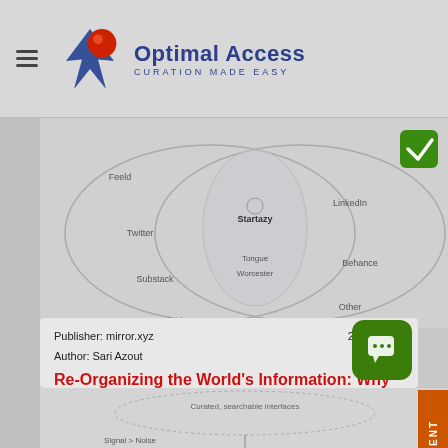Optimal Access — CURATION MADE EASY
[Figure (other): Venn diagram showing overlapping circles with platform names: Feeld, Twitter, Substack, Instagram on left side; LinkedIn, Behance, Other on right side; Startazy, Tongue, Worcester in overlapping center area. A green checkmark overlay appears top right.]
Publisher: mirror.xyz	2021-10-18
Author: Sari Azout
Re-Organizing the World's Information: Why we need more Boutique…
This article is a critique on Google search and arguments for custom or better said curated search engines to address the problem of finding verified and curated search that organize content in new ways. Our curation tools are an answer to this problem. Click to see how it look like.
Tags:
[Figure (other): Bottom snippet showing another diagram with text 'Curated, searchable interfaces' and 'Signal > Noise' visible at the bottom of the page.]